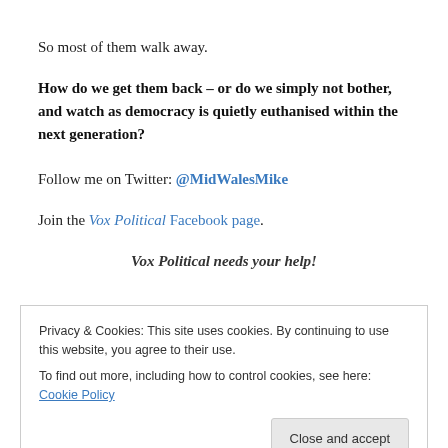So most of them walk away.
How do we get them back – or do we simply not bother, and watch as democracy is quietly euthanised within the next generation?
Follow me on Twitter: @MidWalesMike
Join the Vox Political Facebook page.
Vox Political needs your help!
Privacy & Cookies: This site uses cookies. By continuing to use this website, you agree to their use.
To find out more, including how to control cookies, see here: Cookie Policy